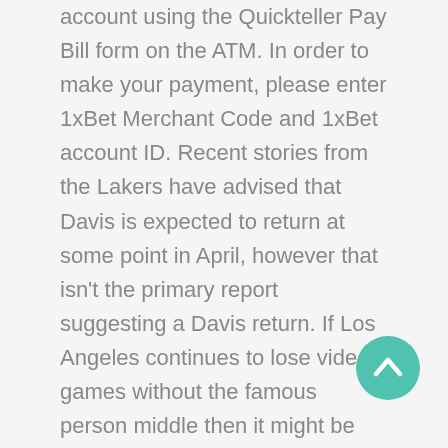account using the Quickteller Pay Bill form on the ATM. In order to make your payment, please enter 1xBet Merchant Code and 1xBet account ID. Recent stories from the Lakers have advised that Davis is expected to return at some point in April, however that isn't the primary report suggesting a Davis return. If Los Angeles continues to lose video games without the famous person middle then it might be time for the Lakers to shut Davis down. Bonuses are
[Figure (other): Teal/green circular button with an upward-pointing chevron arrow icon, positioned in the bottom-right area of the page]